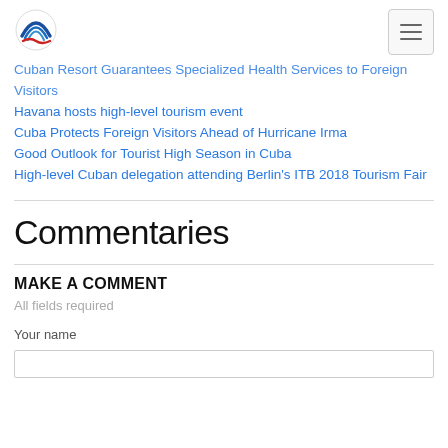Cuba News Del Cuba - navigation header
Cuban Resort Guarantees Specialized Health Services to Foreign Visitors
Havana hosts high-level tourism event
Cuba Protects Foreign Visitors Ahead of Hurricane Irma
Good Outlook for Tourist High Season in Cuba
High-level Cuban delegation attending Berlin's ITB 2018 Tourism Fair
Commentaries
MAKE A COMMENT
All fields required
Your name